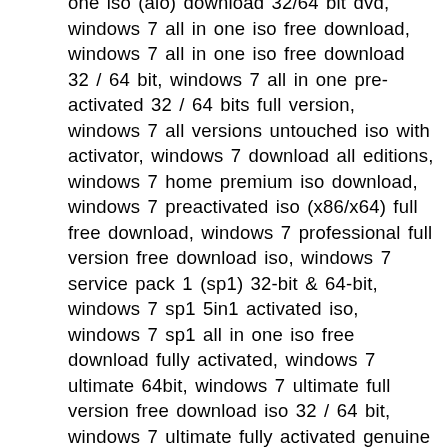one iso (aio) download 32/64 bit dvd, windows 7 all in one iso free download, windows 7 all in one iso free download 32 / 64 bit, windows 7 all in one pre-activated 32 / 64 bits full version, windows 7 all versions untouched iso with activator, windows 7 download all editions, windows 7 home premium iso download, windows 7 preactivated iso (x86/x64) full free download, windows 7 professional full version free download iso, windows 7 service pack 1 (sp1) 32-bit & 64-bit, windows 7 sp1 5in1 activated iso, windows 7 sp1 all in one iso free download fully activated, windows 7 ultimate 64bit, windows 7 ultimate full version free download iso 32 / 64 bit, windows 7 ultimate fully activated genuine x86 x64, windows 7 ultimate iso 32-bit/64-bit activated latest, windows 7 ultimate iso download, windows 7 ultimate iso free download 32 and 64 bit, windows 7 ultimate pre-activated full x86-x64, windows 7 ultimate product key and serial activation, windows 7 ultimate sp1 32 bit, windows 7 ultimate sp1 64 bit, windows 7 ultimate sp1 64 bit iso, windows 7 ultimate sp1 iso original, windows 7 ultimate sp1 original bootable 64 bit, windows 7 ultimate sp1 x86 x64 en-us pre-activated, windows 7 ultimate sp1 x86 x64 fully activated, windows 7 ultimate x86